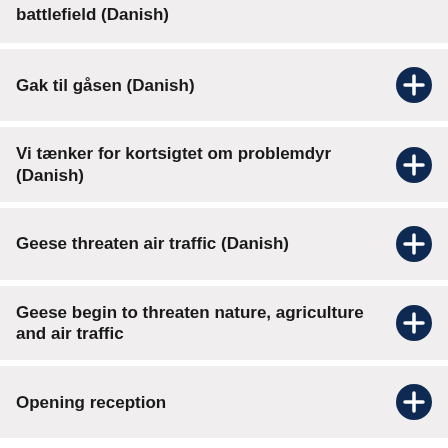battlefield (Danish)
Gak til gåsen (Danish)
Vi tænker for kortsigtet om problemdyr (Danish)
Geese threaten air traffic (Danish)
Geese begin to threaten nature, agriculture and air traffic
Opening reception